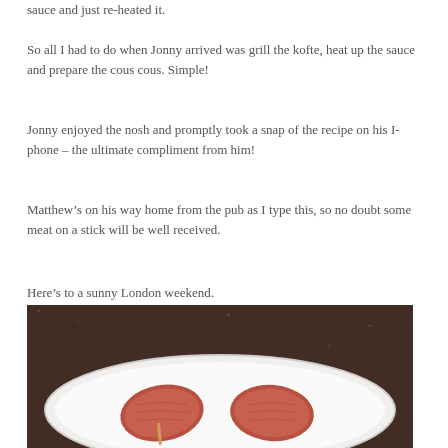sauce and just re-heated it.
So all I had to do when Jonny arrived was grill the kofte, heat up the sauce and prepare the cous cous. Simple!
Jonny enjoyed the nosh and promptly took a snap of the recipe on his I-phone – the ultimate compliment from him!
Matthew’s on his way home from the pub as I type this, so no doubt some meat on a stick will be well received.
Here’s to a sunny London weekend.
[Figure (photo): A white oval plate with two raw meat kofte skewers on a dark granite countertop background.]